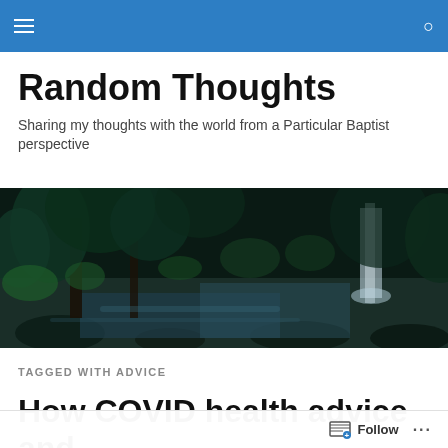Random Thoughts — navigation bar with hamburger menu and search icon
Random Thoughts
Sharing my thoughts with the world from a Particular Baptist perspective
[Figure (photo): Dark forest scene with a waterfall and rocky stream, lush green foliage, moody lighting]
TAGGED WITH ADVICE
How COVID health advice and modelling has been o…
Follow  ···